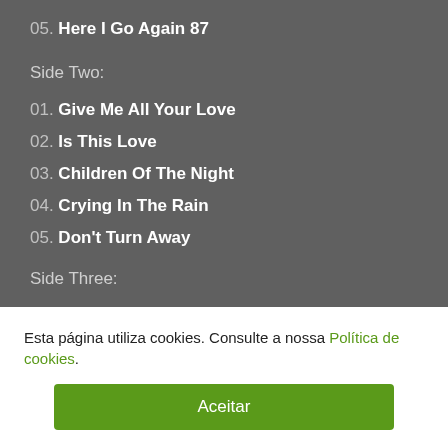05. Here I Go Again 87
Side Two:
01. Give Me All Your Love
02. Is This Love
03. Children Of The Night
04. Crying In The Rain
05. Don't Turn Away
Side Three:
01. Still Of The Night - 2017 Remix *
02. Is This Love - 2017 Remix *
Esta página utiliza cookies. Consulte a nossa Política de cookies.